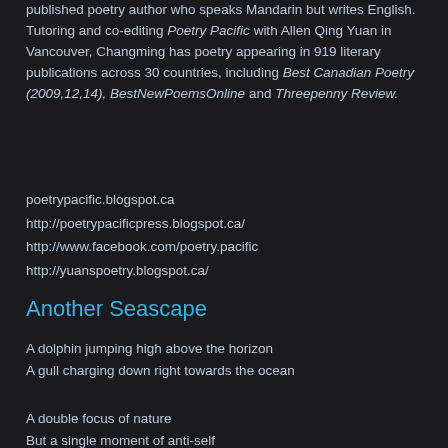published poetry author who speaks Mandarin but writes English. Tutoring and co-editing Poetry Pacific with Allen Qing Yuan in Vancouver, Changming has poetry appearing in 919 literary publications across 30 countries, including Best Canadian Poetry (2009,12,14), BestNewPoemsOnline and Threepenny Review.
poetrypacific.blogspot.ca
http://poetrypacificpress.blogspot.ca/
http://www.facebook.com/poetry.pacific
http://yuanspoetry.blogspot.ca/
Another Seascape
A dolphin jumping high above the horizon
A gull charging down right towards the ocean
A double focus of nature
But a single moment of anti-self